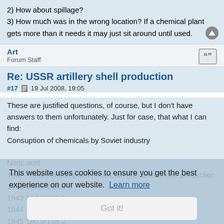2) How about spillage?
3) How much was in the wrong location? If a chemical plant gets more than it needs it may just sit around until used.
Art
Forum Staff
Re: USSR artillery shell production
#17  19 Jul 2008, 19:05
These are justified questions, of course, but I don't have answers to them unfortunately. Just for case, that what I can find:
Consuption of chemicals by Soviet industry
Nitric acid
Year - Total consumption (thous.tons)/in ammuntion production
1942 206,6/184,8
1943 314,8/289,6
1944 328,4/302,0
1945 180,9/155,2
Sulfuric acid
1942 548,6/250,5
1943 814,1/404,9
1944 849,4/410,1